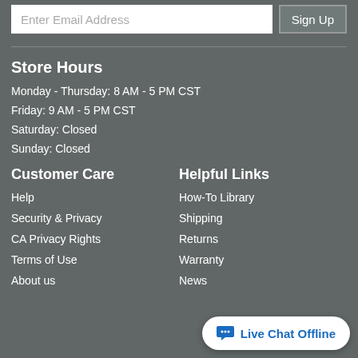Enter Email Address
Sign Up
Store Hours
Monday - Thursday: 8 AM - 5 PM CST
Friday: 9 AM - 5 PM CST
Saturday: Closed
Sunday: Closed
Customer Care
Helpful Links
Help
How-To Library
Security & Privacy
Shipping
CA Privacy Rights
Returns
Terms of Use
Warranty
About us
News
Live Chat Offline